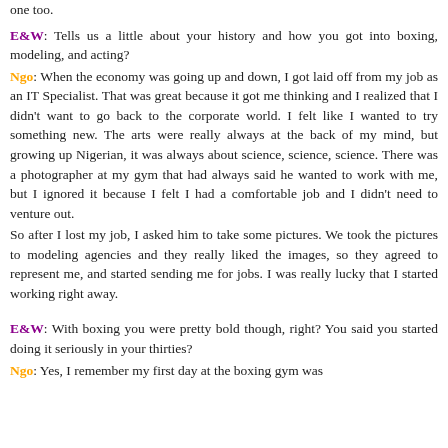one too.
E&W: Tells us a little about your history and how you got into boxing, modeling, and acting?
Ngo: When the economy was going up and down, I got laid off from my job as an IT Specialist. That was great because it got me thinking and I realized that I didn't want to go back to the corporate world. I felt like I wanted to try something new. The arts were really always at the back of my mind, but growing up Nigerian, it was always about science, science, science. There was a photographer at my gym that had always said he wanted to work with me, but I ignored it because I felt I had a comfortable job and I didn't need to venture out.
So after I lost my job, I asked him to take some pictures. We took the pictures to modeling agencies and they really liked the images, so they agreed to represent me, and started sending me for jobs. I was really lucky that I started working right away.
E&W: With boxing you were pretty bold though, right? You said you started doing it seriously in your thirties?
Ngo: Yes, I remember my first day at the boxing gym was